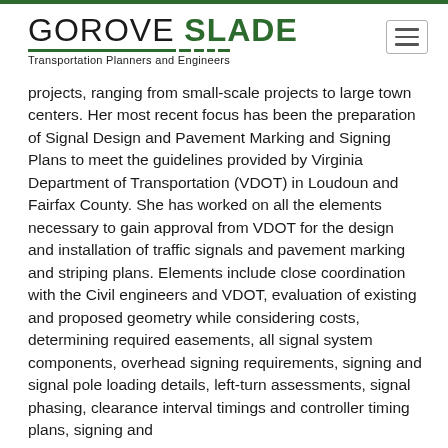GOROVE SLADE — Transportation Planners and Engineers
projects, ranging from small-scale projects to large town centers. Her most recent focus has been the preparation of Signal Design and Pavement Marking and Signing Plans to meet the guidelines provided by Virginia Department of Transportation (VDOT) in Loudoun and Fairfax County. She has worked on all the elements necessary to gain approval from VDOT for the design and installation of traffic signals and pavement marking and striping plans. Elements include close coordination with the Civil engineers and VDOT, evaluation of existing and proposed geometry while considering costs, determining required easements, all signal system components, overhead signing requirements, signing and signal pole loading details, left-turn assessments, signal phasing, clearance interval timings and controller timing plans, signing and